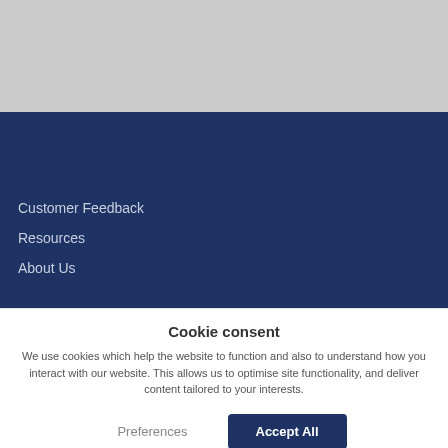[Figure (other): Gray background image area at the top of the page]
Customer Feedback
Resources
About Us
Cookie consent
We use cookies which help the website to function and also to understand how you interact with our website. This allows us to optimise site functionality, and deliver content tailored to your interests.
Preferences
Accept All